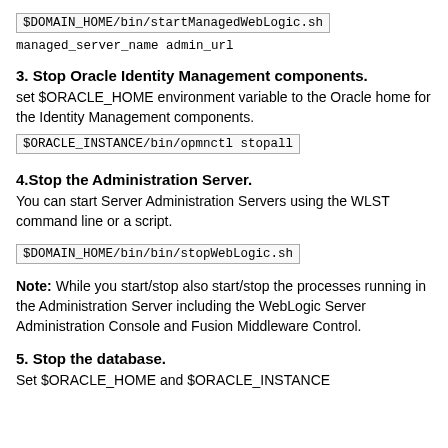$DOMAIN_HOME/bin/startManagedWebLogic.sh managed_server_name admin_url
3. Stop Oracle Identity Management components.
set $ORACLE_HOME environment variable to the Oracle home for the Identity Management components.
$ORACLE_INSTANCE/bin/opmnctl stopall
4.Stop the Administration Server.
You can start Server Administration Servers using the WLST command line or a script.
$DOMAIN_HOME/bin/bin/stopWebLogic.sh
Note: While you start/stop also start/stop the processes running in the Administration Server including the WebLogic Server Administration Console and Fusion Middleware Control.
5. Stop the database.
Set $ORACLE_HOME and $ORACLE_INSTANCE